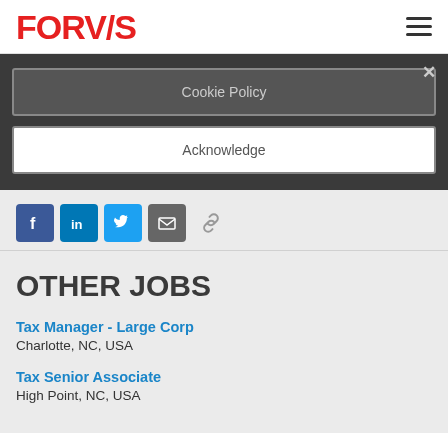FORVIS
Cookie Policy
Acknowledge
[Figure (other): Social sharing icons: Facebook, LinkedIn, Twitter, Email, Link]
OTHER JOBS
Tax Manager - Large Corp
Charlotte, NC, USA
Tax Senior Associate
High Point, NC, USA